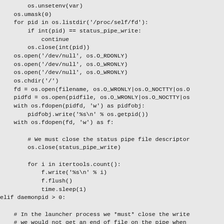os.unsetenv(var)
    os.umask(0)
    for pid in os.listdir('/proc/self/fd'):
        if int(pid) == status_pipe_write:
            continue
        os.close(int(pid))
    os.open('/dev/null', os.O_RDONLY)
    os.open('/dev/null', os.O_WRONLY)
    os.open('/dev/null', os.O_WRONLY)
    os.chdir('/')
    fd = os.open(filename, os.O_WRONLY|os.O_NOCTTY|os.O
    pidfd = os.open(pidfile, os.O_WRONLY|os.O_NOCTTY|os
    with os.fdopen(pidfd, 'w') as pidfobj:
        pidfobj.write('%s\n' % os.getpid())
    with os.fdopen(fd, 'w') as f:

        # We must close the status pipe file descriptor
        os.close(status_pipe_write)

        for i in itertools.count():
            f.write('%s\n' % i)
            f.flush()
            time.sleep(1)
elif daemonpid > 0:

    # In the launcher process we *must* close the write
    # we would not get an end of file on the pipe when
    # daemon process.
    os.close(status_pipe_write)

    # We must also...